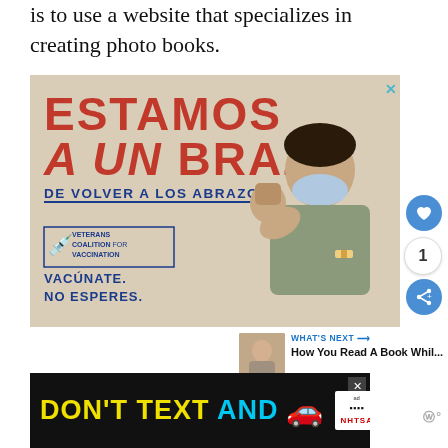is to use a website that specializes in creating photo books.
[Figure (infographic): Vaccination advertisement in Spanish. Large red text 'ESTAMOS A UN BRAZO' with subtitle 'DE VOLVER A LOS ABRAZOS'. Shows person flexing arm with face mask. Veterans Coalition for Vaccination logo. Text: VACÚNATE. NO ESPERES.]
[Figure (infographic): NHTSA ad banner: 'DON'T TEXT AND' with red car emoji. Ad badge with NHTSA logo on dark background.]